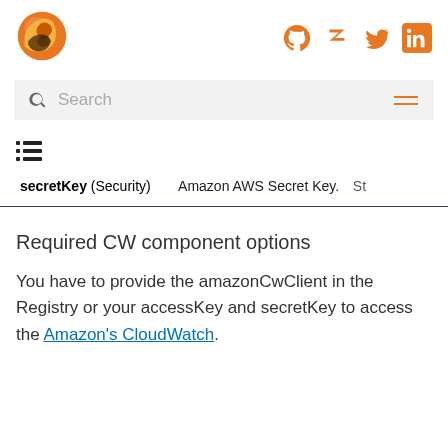[Figure (logo): Orange fox/dog logo]
[Figure (other): Social icons: GitHub, Zulip, Twitter, LinkedIn in orange]
[Figure (other): Search bar with magnifying glass icon and hamburger menu]
[Figure (other): List/table of contents icon]
| secretKey (Security) | Amazon AWS Secret Key. | St |
Required CW component options
You have to provide the amazonCwClient in the Registry or your accessKey and secretKey to access the Amazon's CloudWatch.